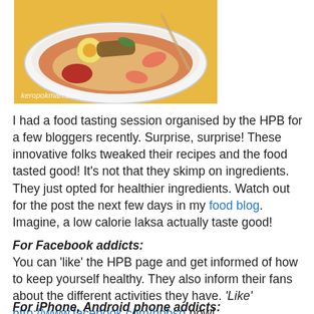[Figure (photo): A bowl of laksa soup with shrimp, egg, and toppings on a yellow background. Watermark: keropokman.com]
I had a food tasting session organised by the HPB for a few bloggers recently. Surprise, surprise! These innovative folks tweaked their recipes and the food tasted good! It's not that they skimp on ingredients. They just opted for healthier ingredients. Watch out for the post the next few days in my food blog. Imagine, a low calorie laksa actually taste good!
For Facebook addicts:
You can 'like' the HPB page and get informed of how to keep yourself healthy. They also inform their fans about the different activities they have. 'Like' http://www.facebook.com/hpbsg now!
For iPhone, Android phone addicts: